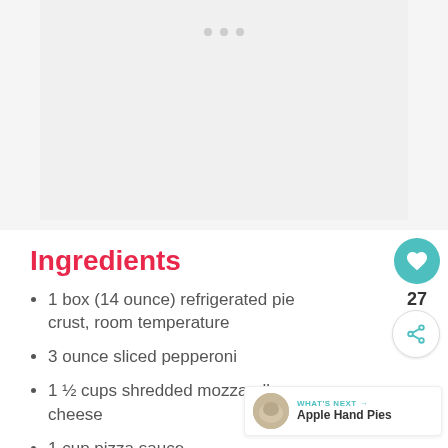[Figure (photo): Recipe image placeholder area with loading dots]
Ingredients
1 box (14 ounce) refrigerated pie crust, room temperature
3 ounce sliced pepperoni
1 ½ cups shredded mozzarella cheese
1 cup pizza sauce